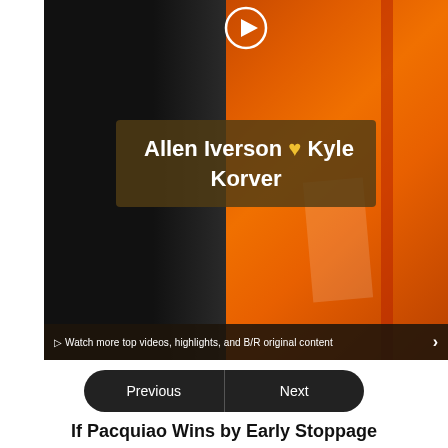[Figure (screenshot): Video thumbnail showing a basketball player in an orange jersey. Text overlay reads 'Allen Iverson ♥ Kyle Korver'. A play button icon appears at the top. Bottom bar shows 'Watch more top videos, highlights, and B/R original content' with a right arrow.]
Previous  Next
If Pacquiao Wins by Early Stoppage